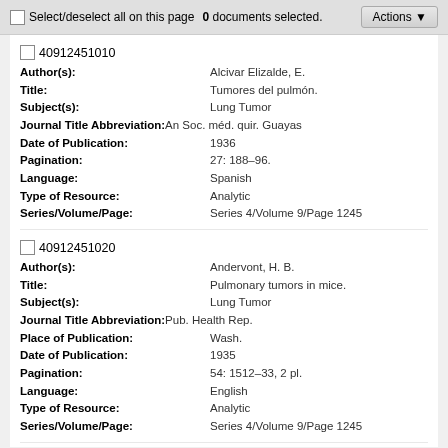Select/deselect all on this page  0 documents selected.  Actions
40912451010 | Author(s): Alcivar Elizalde, E. | Title: Tumores del pulmón. | Subject(s): Lung Tumor | Journal Title Abbreviation: An Soc. méd. quir. Guayas | Date of Publication: 1936 | Pagination: 27: 188–96. | Language: Spanish | Type of Resource: Analytic | Series/Volume/Page: Series 4/Volume 9/Page 1245
40912451020 | Author(s): Andervont, H. B. | Title: Pulmonary tumors in mice. | Subject(s): Lung Tumor | Journal Title Abbreviation: Pub. Health Rep. | Place of Publication: Wash. | Date of Publication: 1935 | Pagination: 54: 1512–33, 2 pl. | Language: English | Type of Resource: Analytic | Series/Volume/Page: Series 4/Volume 9/Page 1245
40912451030 | Author(s): Baccaredda, A. | Title: Contributo alla conoscenza dei tumori primitivi del polmone. | Subject(s): Lung Tumor | Journal Title Abbreviation: Boll. Soc. med. chir.